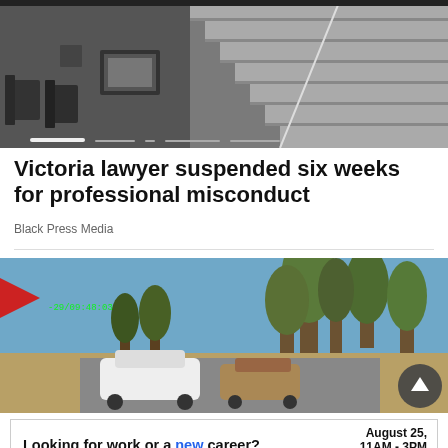[Figure (photo): Black and white photo of a building staircase with metal railings and chairs visible on the left side]
Victoria lawyer suspended six weeks for professional misconduct
Black Press Media
[Figure (photo): Dashcam footage showing cars on a road surrounded by pine trees under a blue sky, with a timestamp overlay in the upper left]
[Figure (infographic): Advertisement banner: 'Looking for work or a new career? August 25, 11AM - 3PM. Featuring 25+ Exhibitors and Growing! CLICK HERE']